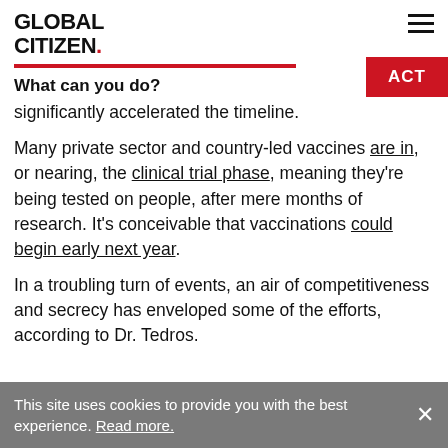GLOBAL CITIZEN.
What can you do?
significantly accelerated the timeline.
Many private sector and country-led vaccines are in, or nearing, the clinical trial phase, meaning they’re being tested on people, after mere months of research. It’s conceivable that vaccinations could begin early next year.
In a troubling turn of events, an air of competitiveness and secrecy has enveloped some of the efforts, according to Dr. Tedros.
This site uses cookies to provide you with the best experience. Read more.